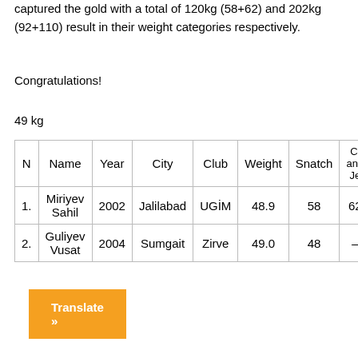captured the gold with a total of 120kg (58+62) and 202kg (92+110) result in their weight categories respectively.
Congratulations!
49 kg
| N | Name | Year | City | Club | Weight | Snatch | Cl and Je |
| --- | --- | --- | --- | --- | --- | --- | --- |
| 1. | Miriyev Sahil | 2002 | Jalilabad | UGİM | 48.9 | 58 | 62 |
| 2. | Guliyev Vusat | 2004 | Sumgait | Zirve | 49.0 | 48 | – |
Translate »